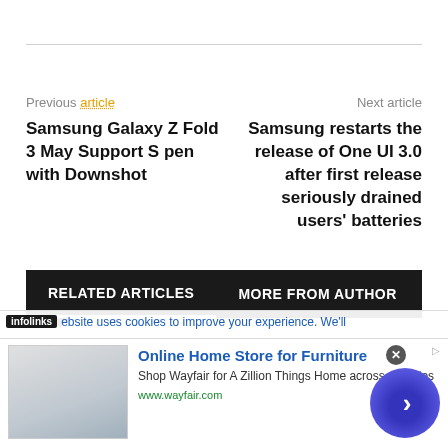Previous article   Next article
Samsung Galaxy Z Fold 3 May Support S pen with Downshot
Samsung restarts the release of One UI 3.0 after first release seriously drained users' batteries
RELATED ARTICLES   MORE FROM AUTHOR
Apple threatens leaker, blaming him for ill-fitting iPhone cases and boring new
infolinks   ebsite uses cookies to improve your experience. We'll
Online Home Store for Furniture
Shop Wayfair for A Zillion Things Home across all styles
www.wayfair.com